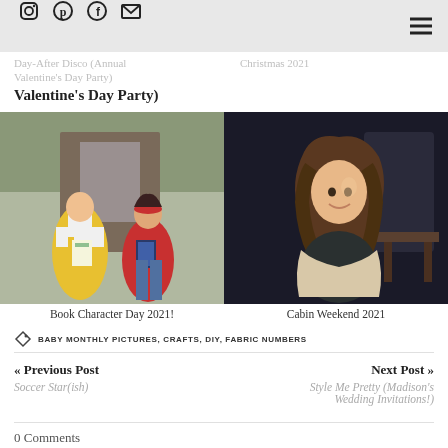Social icons (Instagram, Pinterest, Facebook, Email) | Hamburger menu
Day-After Disco (Annual Valentine's Day Party)
Christmas 2021
Valentine's Day Party
[Figure (photo): Two girls smiling, one in yellow dress holding papers, one in red shirt holding a book, standing outside]
[Figure (photo): Girl with long brown hair smiling, wearing dark top, sitting with light-colored wrap, dark background]
Book Character Day 2021!
Cabin Weekend 2021
BABY MONTHLY PICTURES, CRAFTS, DIY, FABRIC NUMBERS
« Previous Post
Soccer Star(ish)
Next Post »
Style Me Pretty (Madison's Wedding Invitations!)
0 Comments